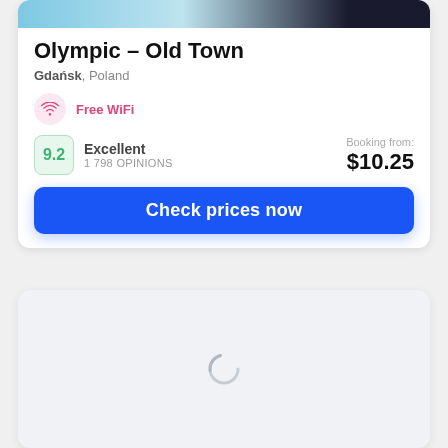[Figure (photo): Partial hotel photo strip at top of card (blurred blue/teal and dark colors)]
Olympic – Old Town
Gdańsk, Poland
Free WiFi
9.2 Excellent 1 798 OPINIONS  Booking from: $10.25
Check prices now
[Figure (screenshot): Loading spinner / placeholder card below main hotel card]